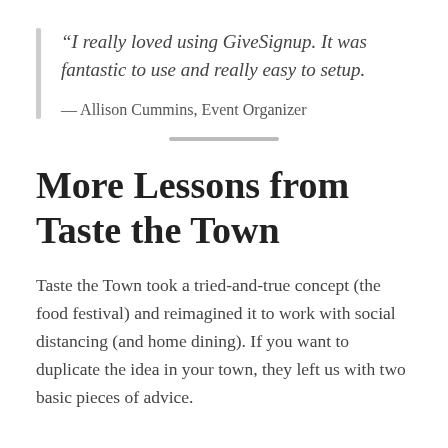“I really loved using GiveSignup. It was fantastic to use and really easy to setup.” — Allison Cummins, Event Organizer
More Lessons from Taste the Town
Taste the Town took a tried-and-true concept (the food festival) and reimagined it to work with social distancing (and home dining). If you want to duplicate the idea in your town, they left us with two basic pieces of advice.